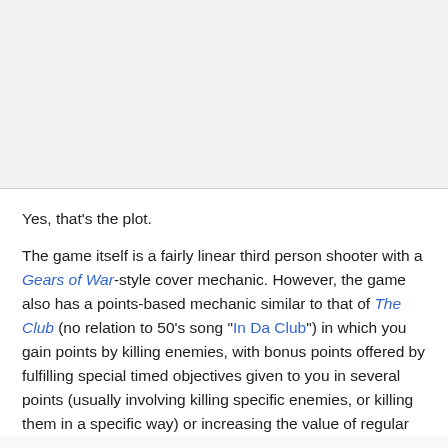[Figure (other): Large blank/grey image area at top of page, separated from text by a horizontal rule]
Yes, that's the plot.
The game itself is a fairly linear third person shooter with a Gears of War-style cover mechanic. However, the game also has a points-based mechanic similar to that of The Club (no relation to 50's song "In Da Club") in which you gain points by killing enemies, with bonus points offered by fulfilling special timed objectives given to you in several points (usually involving killing specific enemies, or killing them in a specific way) or increasing the value of regular